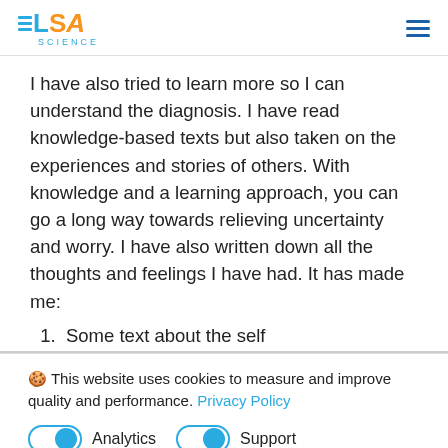ELSA SCIENCE
I have also tried to learn more so I can understand the diagnosis. I have read knowledge-based texts but also taken on the experiences and stories of others. With knowledge and a learning approach, you can go a long way towards relieving uncertainty and worry. I have also written down all the thoughts and feelings I have had. It has made me:
🍪 This website uses cookies to measure and improve quality and performance. Privacy Policy
Analytics   Support (toggles on)
Accept